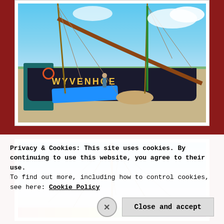[Figure (photo): Photo of a sailing barge named WYVENHOE on water under blue sky with clouds. The dark-hulled vessel has a red life buoy ring on its side, teal cargo stacked on deck, blue tarpaulin, rope coils, and rigging lines with sails. People visible on deck. Green marshland in background.]
[Figure (photo): Partial photo of a sailing vessel mast with rigging lines against a blue and purple cloudy sky. Bottom portion shows colorful decorative element.]
Privacy & Cookies: This site uses cookies. By continuing to use this website, you agree to their use.
To find out more, including how to control cookies, see here: Cookie Policy
Close and accept